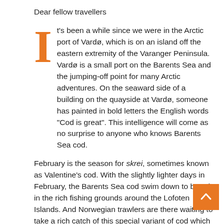Dear fellow travellers
It's been a while since we were in the Arctic port of Vardø, which is on an island off the eastern extremity of the Varanger Peninsula. Vardø is a small port on the Barents Sea and the jumping-off point for many Arctic adventures. On the seaward side of a building on the quayside at Vardø, someone has painted in bold letters the English words "Cod is great". This intelligence will come as no surprise to anyone who knows Barents Sea cod.
February is the season for skrei, sometimes known as Valentine's cod. With the slightly lighter days in February, the Barents Sea cod swim down to breed in the rich fishing grounds around the Lofoten Islands. And Norwegian trawlers are there waiting to take a rich catch of this special variant of cod which is whiter than white and flakes beautifully when carefully cooked.